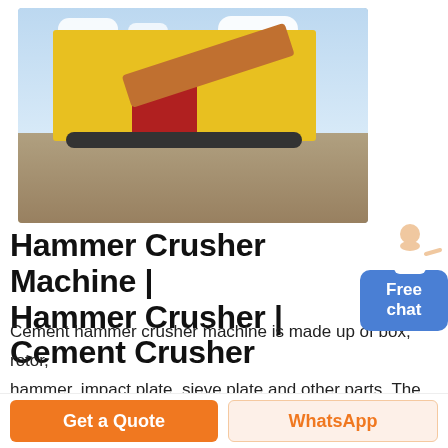[Figure (photo): Large yellow hammer crusher / mobile crushing machine in an outdoor quarry setting with blue sky and rocky ground. Workers visible on the machine. Red components and conveyor belts visible.]
Hammer Crusher Machine | Hammer Crusher | Cement Crusher
Cement hammer crusher machine is made up of box, rotor, hammer, impact plate, sieve plate and other parts. The main working part of hammer cement crusher is a rotor with a hammer, also known as hammer head. The material is beaten, impacted, sheared and grinded by the hammer
Get a Quote
WhatsApp